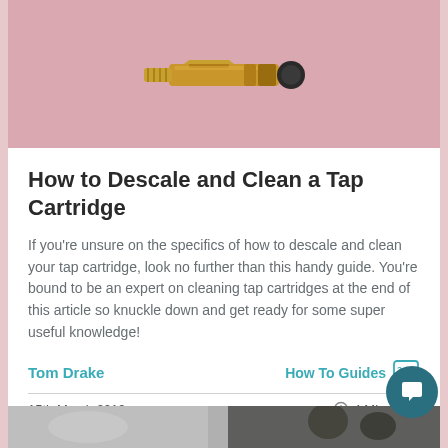[Figure (photo): Brass tap cartridge component on a dusty rose/pink background banner at the top of the page]
How to Descale and Clean a Tap Cartridge
If you're unsure on the specifics of how to descale and clean your tap cartridge, look no further than this handy guide. You're bound to be an expert on cleaning tap cartridges at the end of this article so knuckle down and get ready for some super useful knowledge!
Tom Drake
How To Guides
15th March 2019
4 Min Read
[Figure (photo): Bottom strip showing a partial image, appears to be a bathroom or plumbing related scene in muted grey tones]